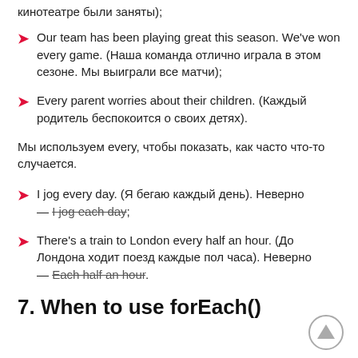кинотеатре были заняты);
Our team has been playing great this season. We've won every game. (Наша команда отлично играла в этом сезоне. Мы выиграли все матчи);
Every parent worries about their children. (Каждый родитель беспокоится о своих детях).
Мы используем every, чтобы показать, как часто что-то случается.
I jog every day. (Я бегаю каждый день). Неверно — I jog each day;
There's a train to London every half an hour. (До Лондона ходит поезд каждые пол часа). Неверно — Each half an hour.
7. When to use forEach()